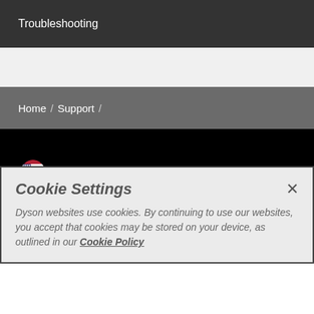Troubleshooting
Home / Support /
United States
Change language or region
Vacuum cleaners
Cookie Settings
Dyson websites use cookies. By continuing to use our websites, you accept that cookies may be stored on your device, as outlined in our Cookie Policy